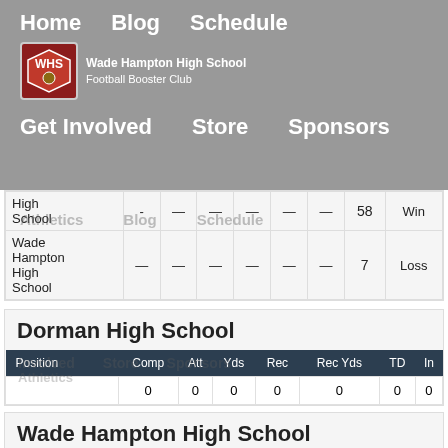Home  Blog  Schedule  Get Involved  Store  Sponsors — Wade Hampton High School Football Booster Club
|  |  |  |  |  |  |  |  |  |
| --- | --- | --- | --- | --- | --- | --- | --- | --- |
| High School | - | — | — | — | — | — | 58 | Win |
| Wade Hampton High School | — | — | — | — | — | — | 7 | Loss |
Dorman High School
| Position | Comp | Att | Yds | Rec | Rec Yds | TD | In |
| --- | --- | --- | --- | --- | --- | --- | --- |
|  | 0 | 0 | 0 | 0 | 0 | 0 | 0 |
Wade Hampton High School